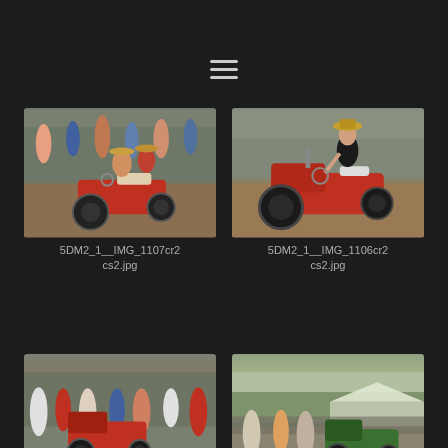[Figure (other): Hamburger/menu icon (three horizontal lines) centered near top of dark page]
[Figure (photo): Two young women wearing straw hats riding a small red go-kart style tractor on dirt track with crowd of spectators in background]
5DM2_1__IMG_1107cr2cs2.jpg
[Figure (photo): Woman in black top and straw hat riding a vintage red tractor alone on dirt track]
5DM2_1__IMG_1106cr2cs2.jpg
[Figure (photo): Outdoor fair scene with crowd of people and a red antique tractor in foreground]
[Figure (photo): Outdoor fair scene with crowd, tents, and a green tractor visible]